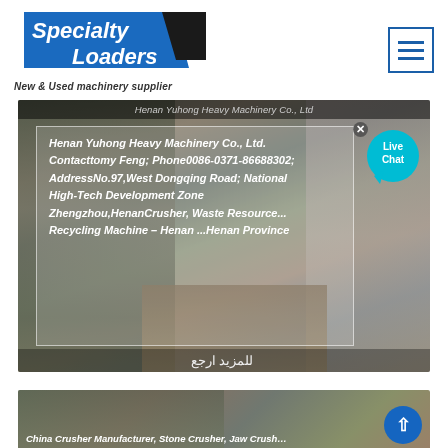[Figure (logo): Specialty Loaders logo — blue parallelogram shape with white text 'Specialty Loaders' and black trapezoidal element]
New & Used machinery supplier
[Figure (screenshot): Machinery product card showing industrial equipment with overlay text box containing company info: Henan Yuhong Heavy Machinery Co., Ltd. Contacttomy Feng; Phone0086-0371-86688302; AddressNo.97,West Dongqing Road; National High-Tech Development Zone Zhengzhou,HenanCrusher, Waste Resource... Recycling Machine – Henan ...Henan Province. Live Chat bubble in top right. Arabic text at bottom.]
Henan Yuhong Heavy Machinery Co., Ltd. Contacttomy Feng; Phone0086-0371-86688302; AddressNo.97,West Dongqing Road; National High-Tech Development Zone Zhengzhou,HenanCrusher, Waste Resource... Recycling Machine – Henan ...Henan Province
[Figure (screenshot): Second product card partially visible: China Crusher Manufacturer, Stone Crusher, Jaw Crush... — industrial machinery image]